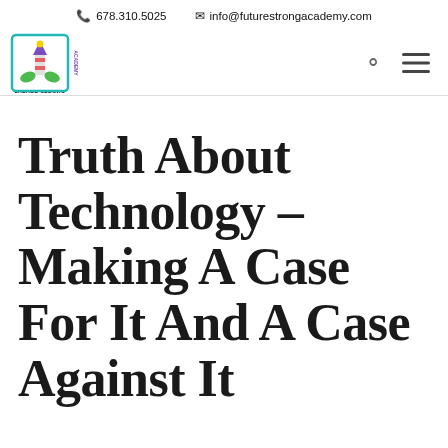678.310.5025   info@futurestrongacademy.com
[Figure (logo): Future Strong Academy logo — colorful lighthouse/hands icon with text 'FUTURE STRONG ACADEMY']
Truth About Technology – Making A Case For It And A Case Against It